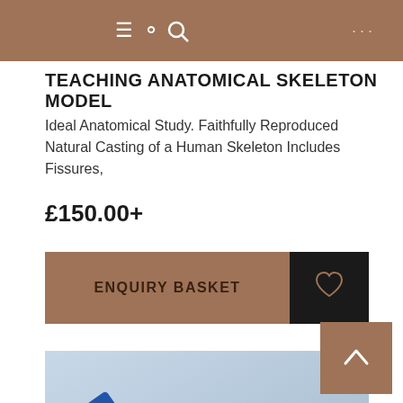Navigation header with hamburger menu, search icon, and more options
TEACHING ANATOMICAL SKELETON MODEL
Ideal Anatomical Study. Faithfully Reproduced Natural Casting of a Human Skeleton Includes Fissures,
£150.00+
ENQUIRY BASKET
[Figure (photo): Photo of a blue strap or belt with a white plastic buckle/clip, on a light blue background - appears to be a skeleton model stand strap or similar educational equipment accessory]